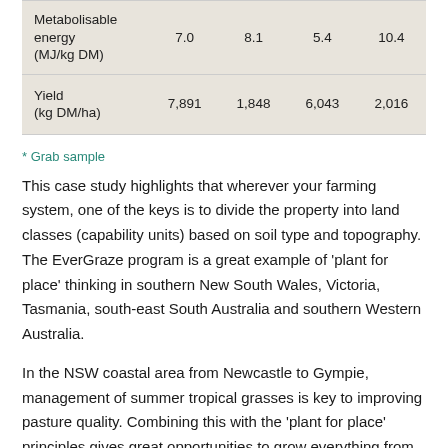|  |  |  |  |  |
| --- | --- | --- | --- | --- |
| Metabolisable energy (MJ/kg DM) | 7.0 | 8.1 | 5.4 | 10.4 |
| Yield (kg DM/ha) | 7,891 | 1,848 | 6,043 | 2,016 |
* Grab sample
This case study highlights that wherever your farming system, one of the keys is to divide the property into land classes (capability units) based on soil type and topography. The EverGraze program is a great example of 'plant for place' thinking in southern New South Wales, Victoria, Tasmania, south-east South Australia and southern Western Australia.
In the NSW coastal area from Newcastle to Gympie, management of summer tropical grasses is key to improving pasture quality. Combining this with the 'plant for place' principles gives great opportunities to grow everything from